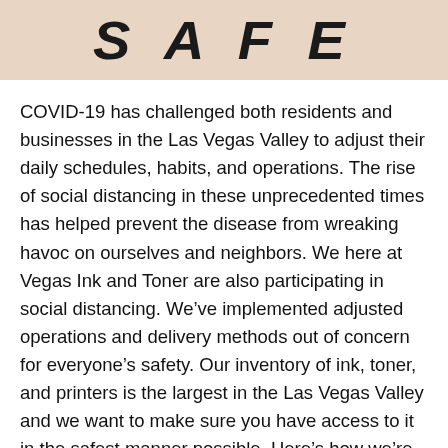[Figure (photo): Partial image showing large bold italic text 'SAFE' on a light pink/beige background, partially cropped at the top of the page]
COVID-19 has challenged both residents and businesses in the Las Vegas Valley to adjust their daily schedules, habits, and operations. The rise of social distancing in these unprecedented times has helped prevent the disease from wreaking havoc on ourselves and neighbors. We here at Vegas Ink and Toner are also participating in social distancing. We've implemented adjusted operations and delivery methods out of concern for everyone's safety. Our inventory of ink, toner, and printers is the largest in the Las Vegas Valley and we want to make sure you have access to it in the safest manner possible. Here's how we're keeping you safe from COVID-19 through social distancing!